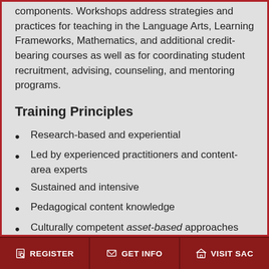components. Workshops address strategies and practices for teaching in the Language Arts, Learning Frameworks, Mathematics, and additional credit-bearing courses as well as for coordinating student recruitment, advising, counseling, and mentoring programs.
Training Principles
Research-based and experiential
Led by experienced practitioners and content-area experts
Sustained and intensive
Pedagogical content knowledge
Culturally competent asset-based approaches and practices
Fostering the community and interaction...
REGISTER | GET INFO | VISIT SAC